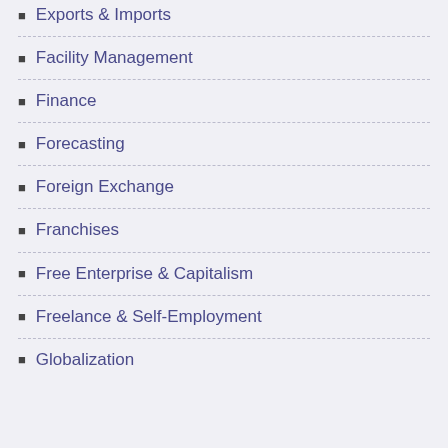Exports & Imports
Facility Management
Finance
Forecasting
Foreign Exchange
Franchises
Free Enterprise & Capitalism
Freelance & Self-Employment
Globalization